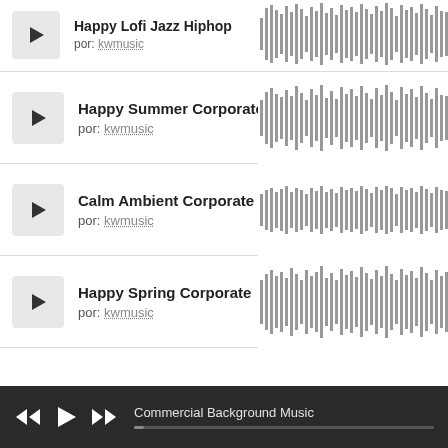[Figure (screenshot): Music player interface showing a list of tracks with play buttons, waveforms, and author credits. Tracks: Happy Lofi Jazz Hiphop, Happy Summer Corporate, Calm Ambient Corporate, Happy Spring Corporate, all by kwmusic. Player bar at bottom shows Commercial Background Music.]
Happy Lofi Jazz Hiphop
por: kwmusic
Happy Summer Corporate
por: kwmusic
Calm Ambient Corporate
por: kwmusic
Happy Spring Corporate
por: kwmusic
Commercial Background Music